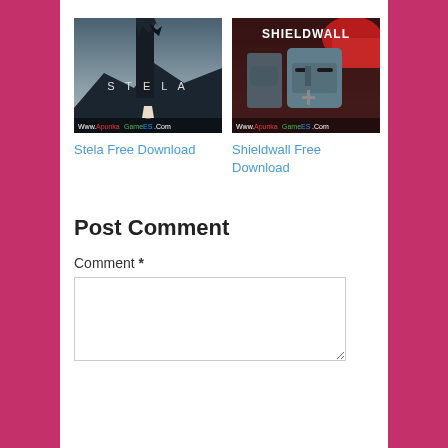[Figure (screenshot): Stela game cover art showing a cloaked figure silhouetted against dark mountains with a tall monolith, with 'Www.ApunkaGameES.Com' watermark at the bottom]
Stela Free Download
[Figure (screenshot): Shieldwall game cover art showing armored medieval soldiers/knights in dark tones with 'SHIELDWALL' text at top, with 'Www.ApunkaGameES.Com' watermark at the bottom]
Shieldwall Free Download
Post Comment
Comment *